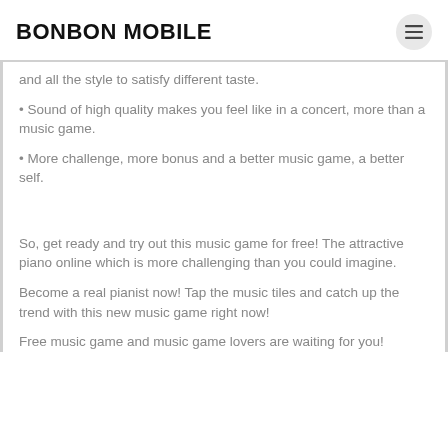BONBON MOBILE
and all the style to satisfy different taste.
• Sound of high quality makes you feel like in a concert, more than a music game.
• More challenge, more bonus and a better music game, a better self.
So, get ready and try out this music game for free! The attractive piano online which is more challenging than you could imagine.
Become a real pianist now! Tap the music tiles and catch up the trend with this new music game right now!
Free music game and music game lovers are waiting for you!